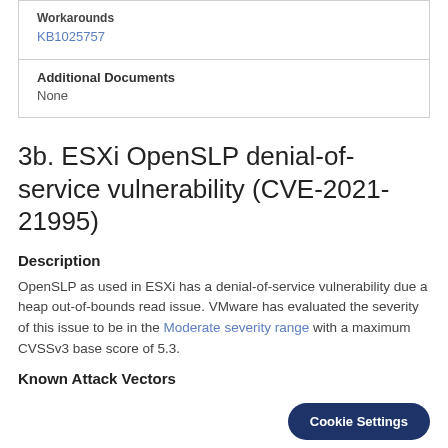| Workarounds | KB1025757 |
| Additional Documents | None |
3b. ESXi OpenSLP denial-of-service vulnerability (CVE-2021-21995)
Description
OpenSLP as used in ESXi has a denial-of-service vulnerability due a heap out-of-bounds read issue. VMware has evaluated the severity of this issue to be in the Moderate severity range with a maximum CVSSv3 base score of 5.3.
Known Attack Vectors